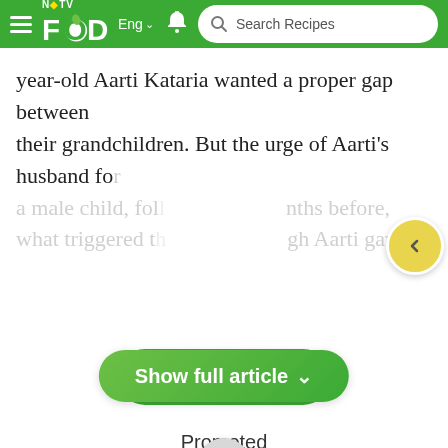NDTV Food | Eng | Search Recipes
year-old Aarti Kataria wanted a proper gap between their grandchildren. But the urge of Aarti's husband for a male child, foll... nths before, what triggered t... gh Aarti gave
[Figure (screenshot): Green pill button reading 'Show full article' with chevron down icon]
[Figure (screenshot): Circular back button with left arrow, yellow/gold color]
[Figure (screenshot): Green pill button with chat bubble icon reading 'Comments']
Promoted
Trending Links
Weight Loss
Cooking Tips
Food News